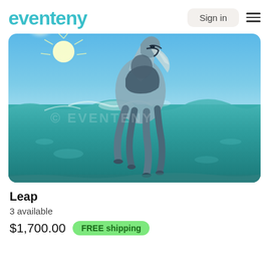eventeny  Sign in
[Figure (photo): A horse leaping out of the ocean, photographed from a split above/below water perspective. The upper half shows the horse's head and torso above the water surface with a bright sun and blue sky, while the lower half shows the horse's legs underwater. A copyright watermark of 'EVENTENY' is visible across the image.]
Leap
3 available
$1,700.00  FREE shipping